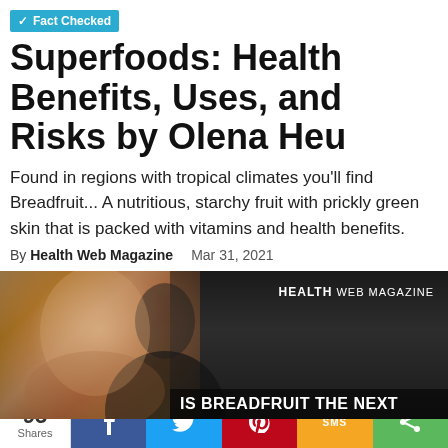✓ Fact Checked
Superfoods: Health Benefits, Uses, and Risks by Olena Heu
Found in regions with tropical climates you'll find Breadfruit... A nutritious, starchy fruit with prickly green skin that is packed with vitamins and health benefits.
By Health Web Magazine    Mar 31, 2021
[Figure (photo): Woman smiling on left side with dark background on right side showing 'HEALTH WEB MAGAZINE' logo and text 'IS BREADFRUIT THE NEXT' at the bottom]
95 Shares | Facebook share | Twitter share | Pinterest share | SMS | Share